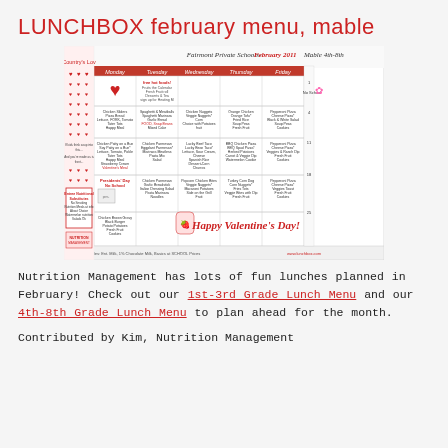LUNCHBOX february menu, mable
[Figure (screenshot): Fairmont Private Schools February 2011 Mable 4th-8th Grade Lunch Menu calendar showing daily lunch options for the month of February, including Valentine's Day special items.]
Nutrition Management has lots of fun lunches planned in February! Check out our 1st-3rd Grade Lunch Menu and our 4th-8th Grade Lunch Menu to plan ahead for the month.
Contributed by Kim, Nutrition Management